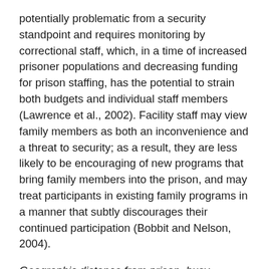potentially problematic from a security standpoint and requires monitoring by correctional staff, which, in a time of increased prisoner populations and decreasing funding for prison staffing, has the potential to strain both budgets and individual staff members (Lawrence et al., 2002). Facility staff may view family members as both an inconvenience and a threat to security; as a result, they are less likely to be encouraging of new programs that bring family members into the prison, and may treat participants in existing family programs in a manner that subtly discourages their continued participation (Bobbit and Nelson, 2004).
Geographic distance from prison, busy schedules, and tenuous relationships serve as barriers to family involvement in prison programs.
Tenuous relationships between incarcerated fathers and their partners may present yet another barrier to...